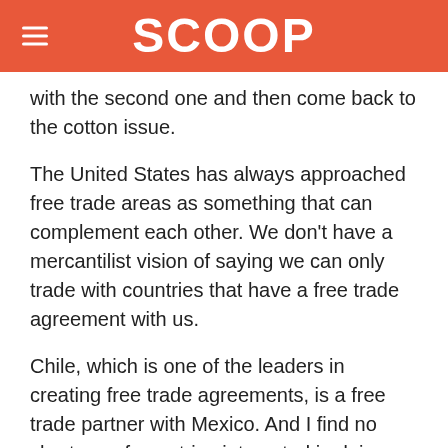SCOOP
with the second one and then come back to the cotton issue.
The United States has always approached free trade areas as something that can complement each other. We don't have a mercantilist vision of saying we can only trade with countries that have a free trade agreement with us.
Chile, which is one of the leaders in creating free trade agreements, is a free trade partner with Mexico. And I find no shortage of countries interested in doing free trade agreements with the United States. So, you know, I don't think it is going to stop the Andean countries from wanting to pursue their free trade agreements. There is countries in the Middle East that are knocking on the door. We have the South Koreans and other countries that want to do them. So, I don't